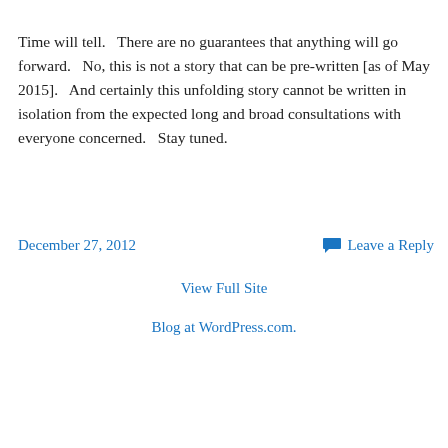Time will tell.   There are no guarantees that anything will go forward.   No, this is not a story that can be pre-written [as of May 2015].   And certainly this unfolding story cannot be written in isolation from the expected long and broad consultations with everyone concerned.   Stay tuned.
December 27, 2012
Leave a Reply
View Full Site
Blog at WordPress.com.